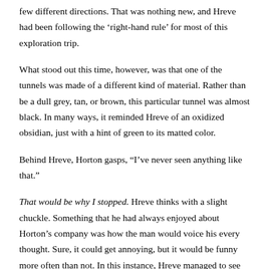few different directions. That was nothing new, and Hreve had been following the 'right-hand rule' for most of this exploration trip.
What stood out this time, however, was that one of the tunnels was made of a different kind of material. Rather than be a dull grey, tan, or brown, this particular tunnel was almost black. In many ways, it reminded Hreve of an oxidized obsidian, just with a hint of green to its matted color.
Behind Hreve, Horton gasps, "I've never seen anything like that."
That would be why I stopped. Hreve thinks with a slight chuckle. Something that he had always enjoyed about Horton's company was how the man would voice his every thought. Sure, it could get annoying, but it would be funny more often than not. In this instance, Hreve managed to see the humor in things.
"It doesn't look natural, how do you think it got here?" Hreve asks Horton. He didn't expect an answer, but he was open to whatever idea the other man